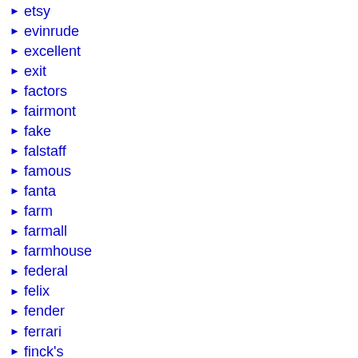etsy
evinrude
excellent
exit
factors
fairmont
fake
falstaff
famous
fanta
farm
farmall
farmhouse
federal
felix
fender
ferrari
finck's
finding
firestone
first
fish
fisogni